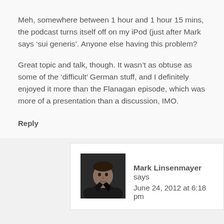Meh, somewhere between 1 hour and 1 hour 15 mins, the podcast turns itself off on my iPod (just after Mark says ‘sui generis’. Anyone else having this problem?
Great topic and talk, though. It wasn’t as obtuse as some of the ‘difficult’ German stuff, and I definitely enjoyed it more than the Flanagan episode, which was more of a presentation than a discussion, IMO.
Reply
[Figure (photo): Profile photo of Mark Linsenmayer, a man in a dark jacket against a dark background]
Mark Linsenmayer says
June 24, 2012 at 6:18 pm